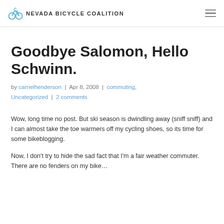NEVADA BICYCLE COALITION
Goodbye Salomon, Hello Schwinn.
by carrielhenderson | Apr 8, 2008 | commuting, Uncategorized | 2 comments
Wow, long time no post. But ski season is dwindling away (sniff sniff) and I can almost take the toe warmers off my cycling shoes, so its time for some bikeblogging.
Now, I don't try to hide the sad fact that I'm a fair weather commuter. There are no fenders on my bike…